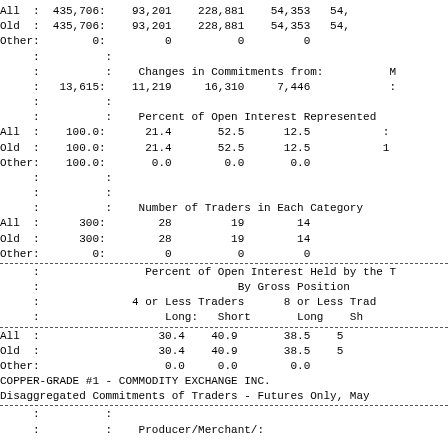| Type | OI | NonComm Long | NonComm Short | NonComm Spread | Comm Long |
| --- | --- | --- | --- | --- | --- |
| All | 435,706: | 93,201 | 228,881 | 54,353 | 54, |
| Old | 435,706: | 93,201 | 228,881 | 54,353 | 54, |
| Other: | 0: | 0 | 0 | 0 |  |
Changes in Commitments from:
|  | 13,615: | 11,219 | 16,310 | 7,446 |  |
Percent of Open Interest Represented
| All | 100.0: | 21.4 | 52.5 | 12.5 |  |
| Old | 100.0: | 21.4 | 52.5 | 12.5 |  |
| Other: | 100.0: | 0.0 | 0.0 | 0.0 |  |
Number of Traders in Each Category
| All | 300: | 28 | 19 | 14 |  |
| Old | 300: | 28 | 19 | 14 |  |
| Other: | 0: | 0 | 0 | 0 |  |
Percent of Open Interest Held by the
By Gross Position
4 or Less Traders    8 or Less Trad
Long:    Short        Long    Sh
| All |  | 30.4 | 40.9 | 38.5 | 5 |
| Old |  | 30.4 | 40.9 | 38.5 | 5 |
| Other: |  | 0.0 | 0.0 | 0.0 |  |
COPPER-GRADE #1 - COMMODITY EXCHANGE INC.
Disaggregated Commitments of Traders - Futures Only, May
Producer/Merchant/: